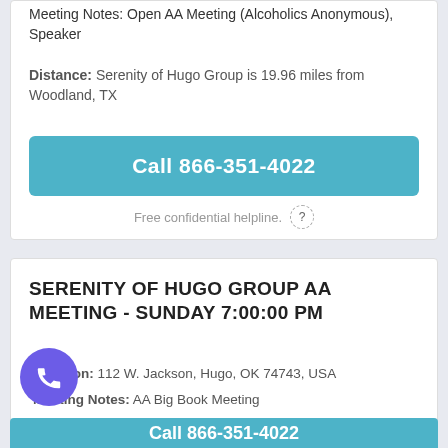Meeting Notes: Open AA Meeting (Alcoholics Anonymous), Speaker
Distance: Serenity of Hugo Group is 19.96 miles from Woodland, TX
Call 866-351-4022
Free confidential helpline.
SERENITY OF HUGO GROUP AA MEETING - SUNDAY 7:00:00 PM
Location: 112 W. Jackson, Hugo, OK 74743, USA
Meeting Notes: AA Big Book Meeting
Distance: Serenity of Hugo Group is 19.96 miles from Woodland, TX
Call 866-351-4022